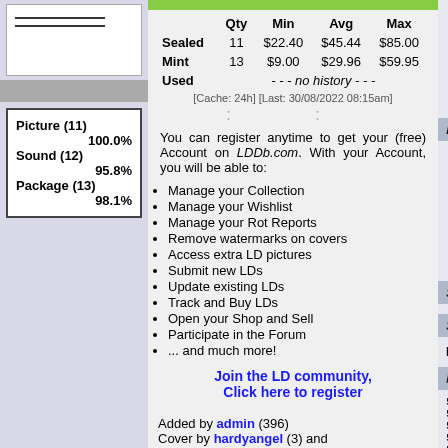|  | Qty | Min | Avg | Max |
| --- | --- | --- | --- | --- |
| Sealed | 11 | $22.40 | $45.44 | $85.00 |
| Mint | 13 | $9.00 | $29.96 | $59.95 |
| Used |  | - - - no history - - - |  |  |
[Cache: 24h] [Last: 30/08/2022 08:15am]
[Figure (other): Ratings box showing Picture (11) 100.0%, Sound (12) 95.8%, Package (13) 98.1%]
You can register anytime to get your (free) Account on LDDb.com. With your Account, you will be able to:
Manage your Collection
Manage your Wishlist
Manage your Rot Reports
Remove watermarks on covers
Access extra LD pictures
Submit new LDs
Update existing LDs
Track and Buy LDs
Open your Shop and Sell
Participate in the Forum
... and much more!
Join the LD community, Click here to register
Added by admin (396) Cover by hardyangel (3) and thepenguin